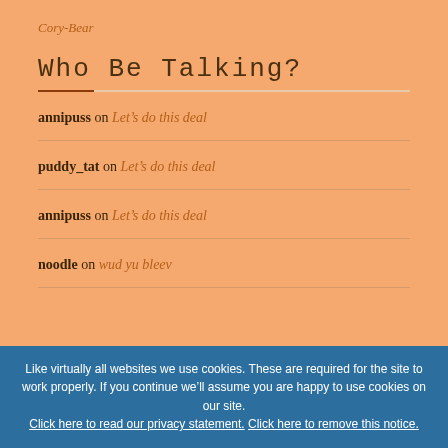Cory-Bear
Who Be Talking?
annipuss on Let’s do this deal
puddy_tat on Let’s do this deal
annipuss on Let’s do this deal
noodle on wud yu bleev
Like virtually all websites we use cookies. These are required for the site to work properly. If you continue we’ll assume you are happy to use cookies on our site. Click here to read our privacy statement. Click here to remove this notice.